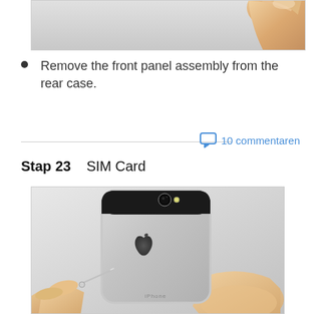[Figure (photo): Close-up photo of hands working on iPhone disassembly, showing fingers near the top of the device.]
Remove the front panel assembly from the rear case.
10 commentaren
Stap 23    SIM Card
[Figure (photo): Photo of iPhone 5s (space gray) rear case being held in one hand, while another hand holds a SIM eject tool near the SIM card tray. The Apple logo is visible on the back, and the iPhone text is at the bottom.]